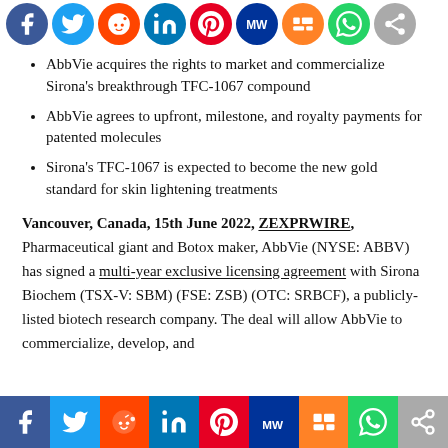[Figure (infographic): Row of social media share icons (Facebook, Twitter, Reddit, LinkedIn, Pinterest, MeWe, Mix, WhatsApp, Share) as colored circles at the top of the page]
AbbVie acquires the rights to market and commercialize Sirona's breakthrough TFC-1067 compound
AbbVie agrees to upfront, milestone, and royalty payments for patented molecules
Sirona's TFC-1067 is expected to become the new gold standard for skin lightening treatments
Vancouver, Canada, 15th June 2022, ZEXPRWIRE, Pharmaceutical giant and Botox maker, AbbVie (NYSE: ABBV) has signed a multi-year exclusive licensing agreement with Sirona Biochem (TSX-V: SBM) (FSE: ZSB) (OTC: SRBCF), a publicly-listed biotech research company. The deal will allow AbbVie to commercialize, develop, and
[Figure (infographic): Row of social media share buttons (Facebook, Twitter, Reddit, LinkedIn, Pinterest, MeWe, Mix, WhatsApp, Share) as colored rectangular buttons at the bottom of the page]